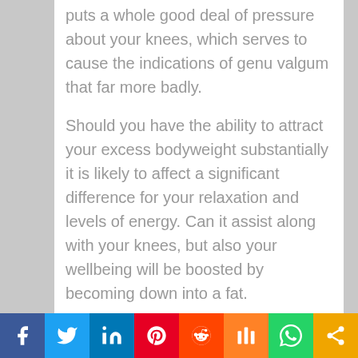puts a whole good deal of pressure about your knees, which serves to cause the indications of genu valgum that far more badly.
Should you have the ability to attract your excess bodyweight substantially it is likely to affect a significant difference for your relaxation and levels of energy. Can it assist along with your knees, but also your wellbeing will be boosted by becoming down into a fat.
Your physician or certified nutritionist may assemble a customized diet program that within the lengthy run can assist you to lose a number of the unwelcome lbs.
[Figure (infographic): Social media sharing bar with icons for Facebook, Twitter, LinkedIn, Pinterest, Reddit, Mix, WhatsApp, and Share]